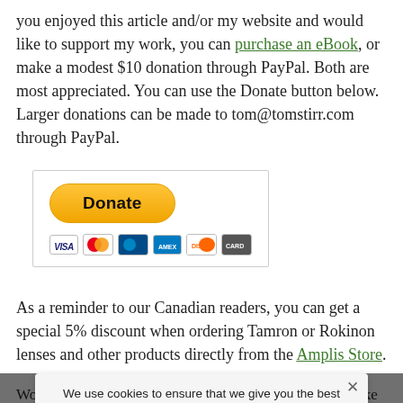you enjoyed this article and/or my website and would like to support my work, you can purchase an eBook, or make a modest $10 donation through PayPal. Both are most appreciated. You can use the Donate button below. Larger donations can be made to tom@tomstirr.com through PayPal.
[Figure (other): PayPal Donate button with credit card logos (Visa, Mastercard, Maestro, Amex, Discover, and another card)]
As a reminder to our Canadian readers, you can get a special 5% discount when ordering Tamron or Rokinon lenses and other products directly from the Amplis Store.
Word of mouth is the best form of endorsement. If you like our website, please tell your friends and colleagues about it. Please share our work. Linking to this site or to any of our articles is allowed with proper acknowledgement. Please do not copy any of the images contained in our posts or share them in any social media posting is a Copyright infringement.
We use cookies to ensure that we give you the best experience on our website. If you continue to use this site we will assume that you are happy with it.